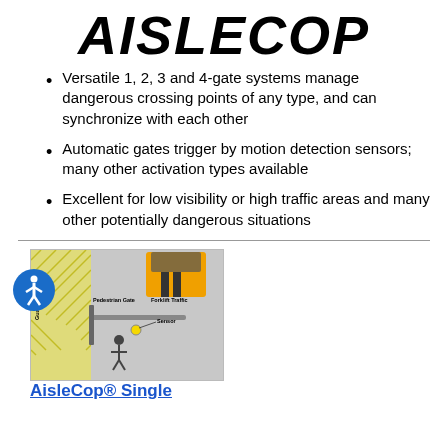AISLECOP
Versatile 1, 2, 3 and 4-gate systems manage dangerous crossing points of any type, and can synchronize with each other
Automatic gates trigger by motion detection sensors; many other activation types available
Excellent for low visibility or high traffic areas and many other potentially dangerous situations
[Figure (illustration): Diagram of AisleCop single gate system showing Pedestrian Gate, Forklift Traffic, Guard Rail, and Sensor labels]
AisleCop® Single